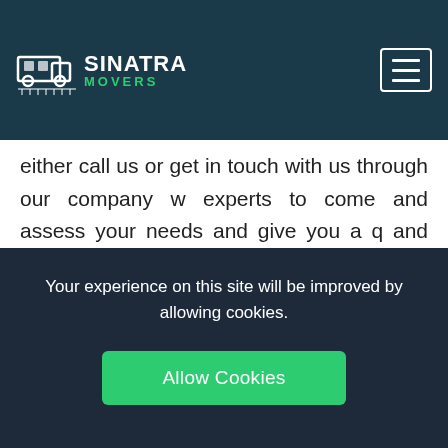Sinatra Movers
either call us or get in touch with us through our company w experts to come and assess your needs and give you a q and we will explain to you everything that you need to kn beauty about our company is that it does not have any hi will serve you in the best way possible. For any questions touch with us today. You can be sure of getting the best ser
Your experience on this site will be improved by allowing cookies.
Allow Cookies